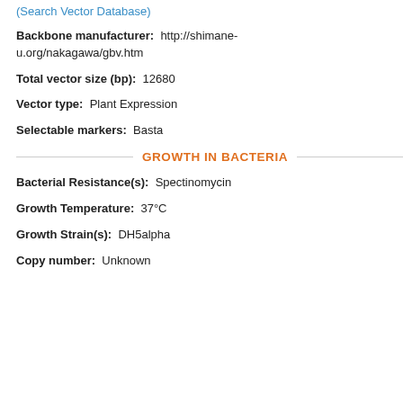(Search Vector Database)
Backbone manufacturer: http://shimane-u.org/nakagawa/gbv.htm
Total vector size (bp): 12680
Vector type: Plant Expression
Selectable markers: Basta
GROWTH IN BACTERIA
Bacterial Resistance(s): Spectinomycin
Growth Temperature: 37°C
Growth Strain(s): DH5alpha
Copy number: Unknown
Species: B... human and...
Insert Size:
Mutation: ... E140K, Q14... K194I, M20...
Promoter:
Tags / Fusi...
V5 (N...
GS li...
YFP
NLS
Cloning me...
5' sequenci...
3' sequenci...
(Common S...